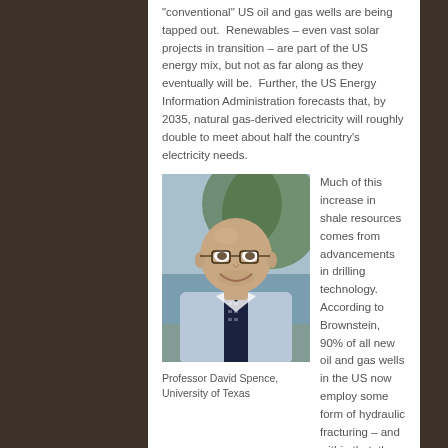“conventional” US oil and gas wells are being tapped out. Renewables – even vast solar projects in transition – are part of the US energy mix, but not as far along as they eventually will be. Further, the US Energy Information Administration forecasts that, by 2035, natural gas-derived electricity will roughly double to meet about half the country's electricity needs.
[Figure (photo): Portrait photo of Professor David Spence, University of Texas. A middle-aged bald man wearing glasses, a light blue dress shirt, and a dark tie with small pattern, smiling, outdoors with trees in background.]
Professor David Spence, University of Texas
Much of this increase in shale resources comes from advancements in drilling technology. According to Brownstein, 90% of all new oil and gas wells in the US now employ some form of hydraulic fracturing – and within that, the vast majority of sites are now using horizontal drilling.